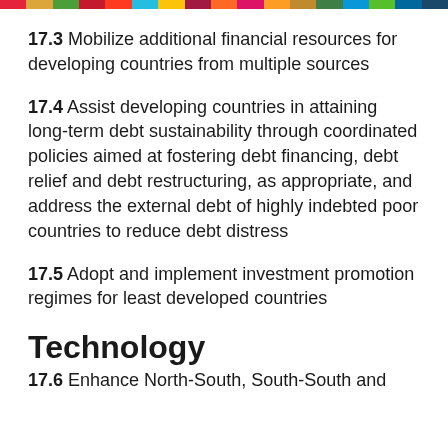17.3 Mobilize additional financial resources for developing countries from multiple sources
17.4 Assist developing countries in attaining long-term debt sustainability through coordinated policies aimed at fostering debt financing, debt relief and debt restructuring, as appropriate, and address the external debt of highly indebted poor countries to reduce debt distress
17.5 Adopt and implement investment promotion regimes for least developed countries
Technology
17.6 Enhance North-South, South-South and